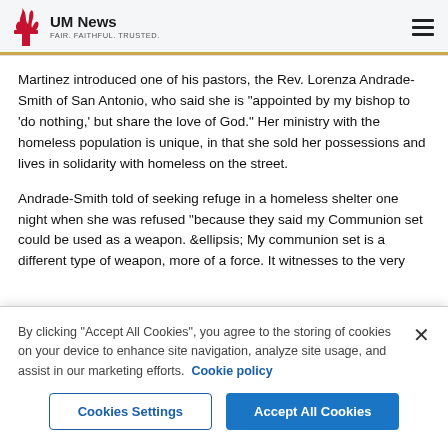UM News FAIR. FAITHFUL. TRUSTED.
Martinez introduced one of his pastors, the Rev. Lorenza Andrade-Smith of San Antonio, who said she is "appointed by my bishop to 'do nothing,' but share the love of God." Her ministry with the homeless population is unique, in that she sold her possessions and lives in solidarity with homeless on the street.
Andrade-Smith told of seeking refuge in a homeless shelter one night when she was refused "because they said my Communion set could be used as a weapon. &ellipsis; My communion set is a different type of weapon, more of a force. It witnesses to the very
By clicking "Accept All Cookies", you agree to the storing of cookies on your device to enhance site navigation, analyze site usage, and assist in our marketing efforts.  Cookie policy
Cookies Settings
Accept All Cookies